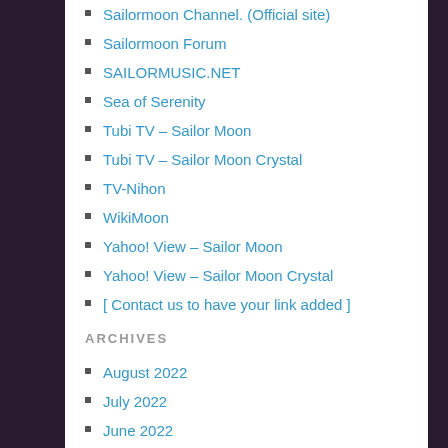Sailormoon Channel. (Official site)
Sailormoon Forum
SAILORMUSIC.NET
Sea of Serenity
Tubi TV – Sailor Moon
Tubi TV – Sailor Moon Crystal
TV-Nihon
WikiMoon
Yahoo! View – Sailor Moon
Yahoo! View – Sailor Moon Crystal
[ Contact us to have your link added ]
ARCHIVES
August 2022
July 2022
June 2022
May 2022
April 2022
March 2022
February 2022
January 2022
December 2021
November 2021
October 2021
September 2021
August 2021
July 2021